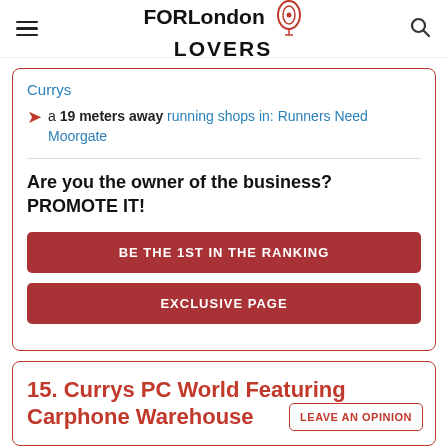FORLondon LOVERS
Currys
a 19 meters away running shops in: Runners Need Moorgate
Are you the owner of the business? PROMOTE IT!
BE THE 1ST IN THE RANKING
EXCLUSIVE PAGE
15. Currys PC World Featuring Carphone Warehouse
LEAVE AN OPINION